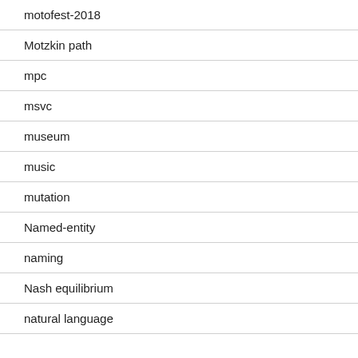motofest-2018
Motzkin path
mpc
msvc
museum
music
mutation
Named-entity
naming
Nash equilibrium
natural language